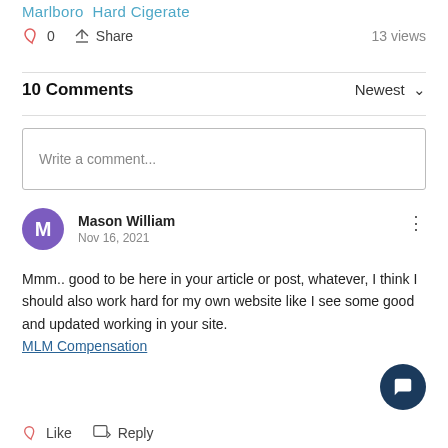Marlboro  Hard Cigerate
0   Share   13 views
10 Comments   Newest
Write a comment...
Mason William
Nov 16, 2021
Mmm.. good to be here in your article or post, whatever, I think I should also work hard for my own website like I see some good and updated working in your site. MLM Compensation
Like   Reply